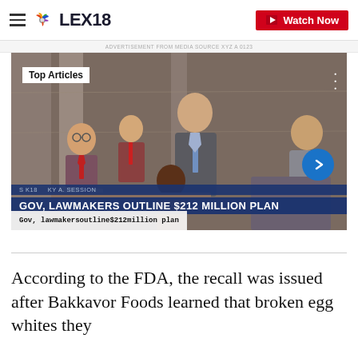LEX18 — Watch Now
[Figure (screenshot): News broadcast screenshot showing lawmakers meeting in a legislative chamber with chyron: GOV, LAWMAKERS OUTLINE $212 MILLION PLAN and subtitle Gov, lawmakersoutline$212million plan. Top Articles badge visible in upper left.]
According to the FDA, the recall was issued after Bakkavor Foods learned that broken egg whites they